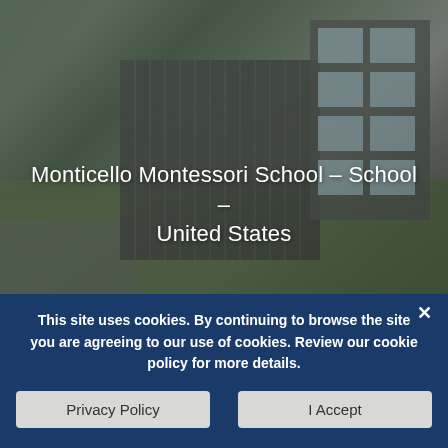[Figure (photo): Aerial/architectural rendering of Monticello Montessori School building with dark cladding and green lawn area, United States]
Monticello Montessori School – School – United States
[Figure (photo): Blue sky with light clouds, partial view of building below]
This site uses cookies. By continuing to browse the site you are agreeing to our use of cookies. Review our cookie policy for more details.
Privacy Policy
I Accept